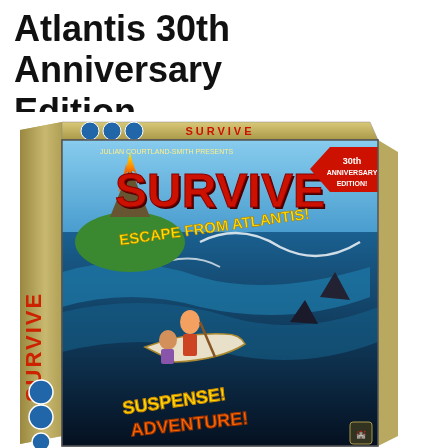Atlantis 30th Anniversary Edition
[Figure (photo): Product photo of the board game 'Survive: Escape from Atlantis! 30th Anniversary Edition' box. The box features colorful artwork showing characters escaping on a boat from a sinking island with sharks and sea monsters in the water. The box has a sandy/tan colored exterior with 'SURVIVE' written in large red letters and 'ESCAPE FROM ATLANTIS!' below it. A red banner reads '30th Anniversary Edition!' The bottom of the box reads 'SUSPENSE! ADVENTURE!' The left side of the box shows the game title vertically. Blue circular icons showing player information are visible on the left side and top.]